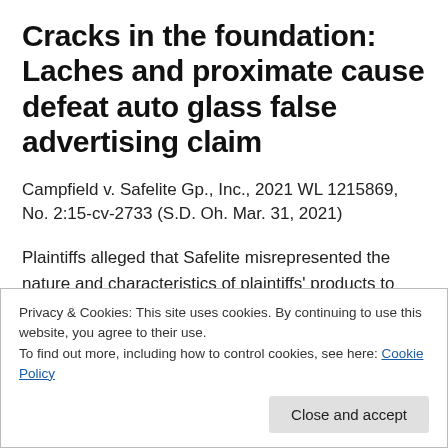Cracks in the foundation: Laches and proximate cause defeat auto glass false advertising claim
Campfield v. Safelite Gp., Inc., 2021 WL 1215869, No. 2:15-cv-2733 (S.D. Oh. Mar. 31, 2021)
Plaintiffs alleged that Safelite misrepresented the nature and characteristics of plaintiffs' products to consumers in
Privacy & Cookies: This site uses cookies. By continuing to use this website, you agree to their use.
To find out more, including how to control cookies, see here: Cookie Policy
Close and accept